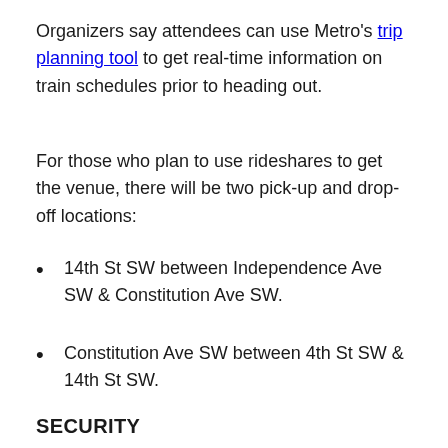Organizers say attendees can use Metro's trip planning tool to get real-time information on train schedules prior to heading out.
For those who plan to use rideshares to get the venue, there will be two pick-up and drop-off locations:
14th St SW between Independence Ave SW & Constitution Ave SW.
Constitution Ave SW between 4th St SW & 14th St SW.
SECURITY